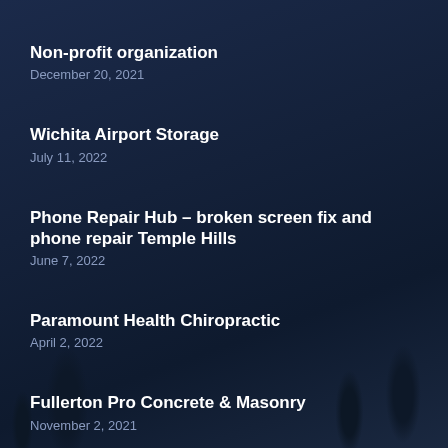Non-profit organization
December 20, 2021
Wichita Airport Storage
July 11, 2022
Phone Repair Hub – broken screen fix and phone repair Temple Hills
June 7, 2022
Paramount Health Chiropractic
April 2, 2022
Fullerton Pro Concrete & Masonry
November 2, 2021